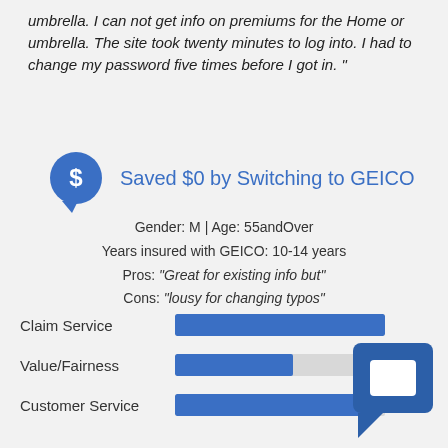umbrella. I can not get info on premiums for the Home or umbrella. The site took twenty minutes to log into. I had to change my password five times before I got in. "
Saved $0 by Switching to GEICO
Gender: M | Age: 55andOver
Years insured with GEICO: 10-14 years
Pros: "Great for existing info but"
Cons: "lousy for changing typos"
[Figure (infographic): Three horizontal bar ratings: Claim Service (full bar, ~100%), Value/Fairness (partial bar, ~55%), Customer Service (full bar, ~95%)]